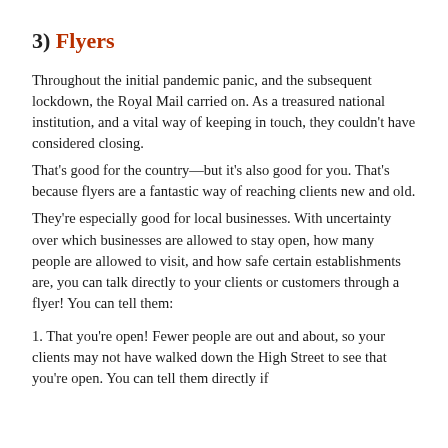3) Flyers
Throughout the initial pandemic panic, and the subsequent lockdown, the Royal Mail carried on. As a treasured national institution, and a vital way of keeping in touch, they couldn't have considered closing.
That's good for the country—but it's also good for you. That's because flyers are a fantastic way of reaching clients new and old.
They're especially good for local businesses. With uncertainty over which businesses are allowed to stay open, how many people are allowed to visit, and how safe certain establishments are, you can talk directly to your clients or customers through a flyer! You can tell them:
1. That you're open! Fewer people are out and about, so your clients may not have walked down the High Street to see that you're open. You can tell them directly if...